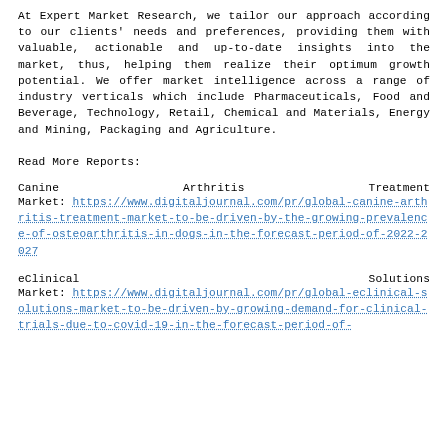At Expert Market Research, we tailor our approach according to our clients' needs and preferences, providing them with valuable, actionable and up-to-date insights into the market, thus, helping them realize their optimum growth potential. We offer market intelligence across a range of industry verticals which include Pharmaceuticals, Food and Beverage, Technology, Retail, Chemical and Materials, Energy and Mining, Packaging and Agriculture.
Read More Reports:
Canine Arthritis Treatment Market: https://www.digitaljournal.com/pr/global-canine-arthritis-treatment-market-to-be-driven-by-the-growing-prevalence-of-osteoarthritis-in-dogs-in-the-forecast-period-of-2022-2027
eClinical Solutions Market: https://www.digitaljournal.com/pr/global-eclinical-solutions-market-to-be-driven-by-growing-demand-for-clinical-trials-due-to-covid-19-in-the-forecast-period-of-